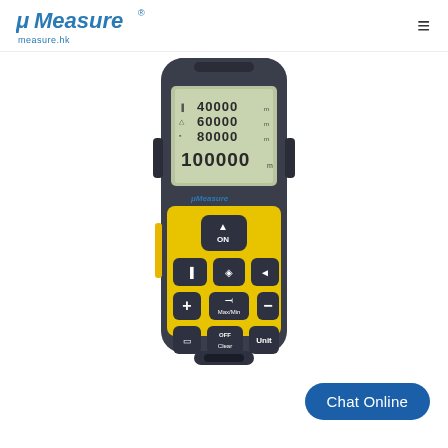μMeasure measure.hk
[Figure (photo): Yellow and dark gray laser distance measuring device (laser rangefinder) showing LCD display with readings 40000, 60000, 80000, 100000 and branded μMeasure. Device has yellow keypad with ON, OFF/Clear, Unit, Max/Min, and function buttons.]
Chat Online